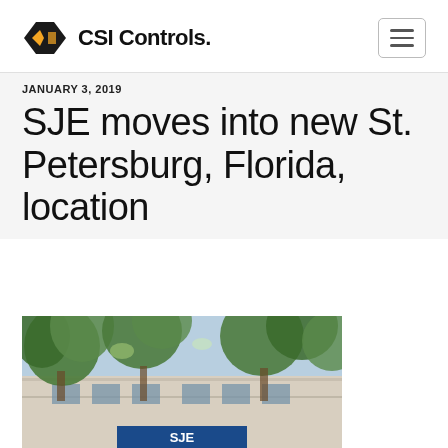CSI Controls.
JANUARY 3, 2019
SJE moves into new St. Petersburg, Florida, location
[Figure (photo): Exterior photo of a building with large trees in the foreground and an SJE sign visible at the bottom]